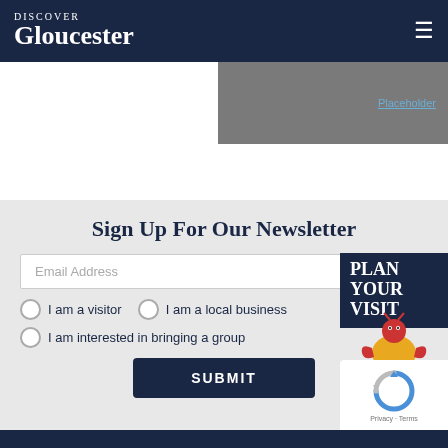DISCOVER Gloucester
[Figure (screenshot): Grey banner image with blue hyperlink text visible on the right side]
Sign Up For Our Newsletter
Email Address
I am a visitor
I am a local business
I am interested in bringing a group
SUBMIT
[Figure (illustration): Plan Your Visit badge with lobster mascot character in yellow outfit]
[Figure (logo): Google reCAPTCHA logo with Privacy and Terms text]